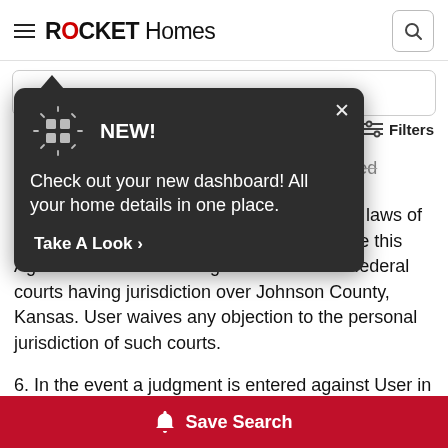ROCKET Homes
[Figure (screenshot): Rocket Homes website header with hamburger menu, ROCKET Homes logo (with red accent on O), and search icon button]
[Figure (infographic): Dark tooltip popup overlay with dashboard grid icon, 'NEW!' label, close X button, text 'Check out your new dashboard! All your home details in one place.', and 'Take A Look >' CTA. Also shows partial Filters button and search bar behind it.]
punitive damages, or lost profits or unrealized savings.
5. This Agreement shall be governed by the laws of Kansas. User agrees that any suit to enforce this Agreement shall be brought in the state or federal courts having jurisdiction over Johnson County, Kansas. User waives any objection to the personal jurisdiction of such courts.
6. In the event a judgment is entered against User in any
[Figure (screenshot): Red Save Search button with bell icon at bottom of screen]